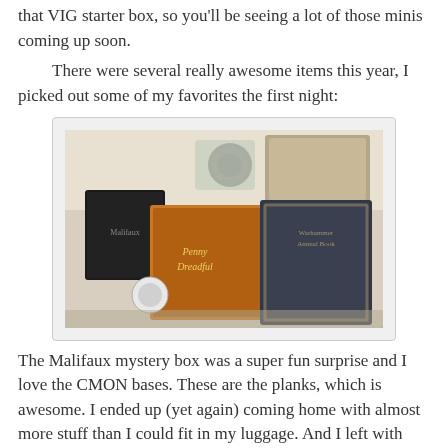that VIG starter box, so you'll be seeing a lot of those minis coming up soon.
There were several really awesome items this year, I picked out some of my favorites the first night:
[Figure (photo): Photo of tabletop gaming items including a Malifaux mystery box (black card box), CMON plank bases, a 'Penny Dreadful' book, a Warhammer Annual book with ornate cover, and other gaming accessories arranged on a white surface.]
The Malifaux mystery box was a super fun surprise and I love the CMON bases. These are the planks, which is awesome. I ended up (yet again) coming home with almost more stuff than I could fit in my luggage. And I left with plenty of extra room, but I was not at all expecting to come home with an entire army's worth of boxes.
If you get a chance, definitely snag a VIG bag if you can. They sell out in moments when the cart goes live in Oct/Nov so make sure you're quick about it. Or, if you're part of Geek